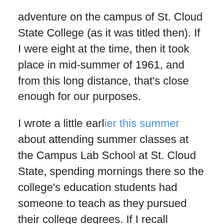adventure on the campus of St. Cloud State College (as it was titled then). If I were eight at the time, then it took place in mid-summer of 1961, and from this long distance, that's close enough for our purposes.
I wrote a little earlier this summer about attending summer classes at the Campus Lab School at St. Cloud State, spending mornings there so the college's education students had someone to teach as they pursued their college degrees. If I recall correctly, on most days, my dad would be waiting when I left the school, and I'd ride home with him in his beloved '52 Ford. Then came the day of the all-college picnic.
Think about this for a moment, as this is – at least for me – a quintessential 1960s event: A summertime picnic on the lawn, open to all students, all faculty and staff members,